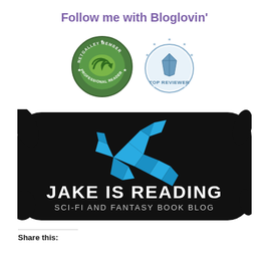Follow me with Bloglovin'
[Figure (logo): Two circular badge logos side by side: left is NetGalley Member Professional Reader badge (green), right is Top Reviewer badge (blue with stars)]
[Figure (logo): Jake Is Reading - Sci-Fi and Fantasy Book Blog logo: black brushstroke background with blue origami dragon and white text]
Share this: